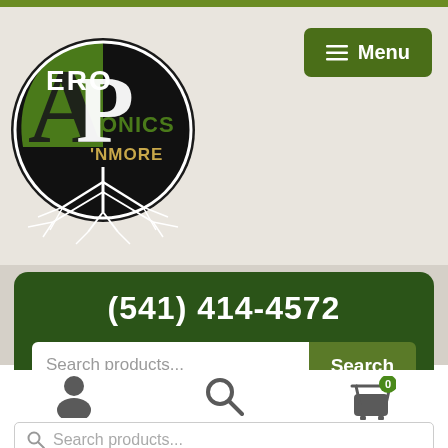[Figure (logo): Aeroponics 'N More circular logo with large stylized A and P letters on dark background with white root system illustration]
Menu
(541) 414-4572
Search products...
Search
[Figure (illustration): User account icon (person silhouette), search icon, and shopping cart icon with badge showing 0]
Search products...